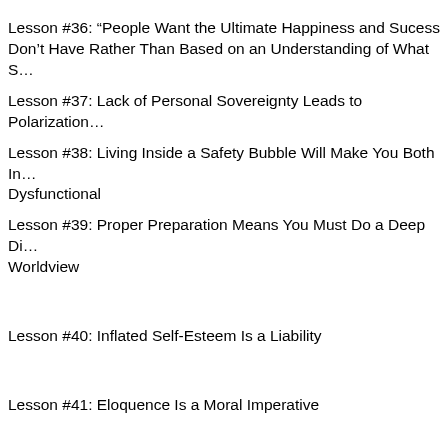Lesson #36: “People Want the Ultimate Happiness and Success Based on What They Don’t Have Rather Than Based on an Understanding of What S…
Lesson #37: Lack of Personal Sovereignty Leads to Polarization…
Lesson #38: Living Inside a Safety Bubble Will Make You Both In… Dysfunctional
Lesson #39: Proper Preparation Means You Must Do a Deep Di… Worldview
Lesson #40: Inflated Self-Esteem Is a Liability
Lesson #41: Eloquence Is a Moral Imperative
Lesson #42: Life’s Answers Are in the Rockpile of Pain